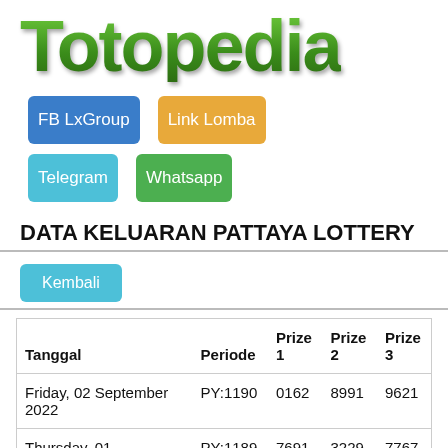[Figure (logo): Totopedia logo in large green gradient stylized text]
FB LxGroup
Link Lomba
Telegram
Whatsapp
DATA KELUARAN PATTAYA LOTTERY
Kembali
| Tanggal | Periode | Prize 1 | Prize 2 | Prize 3 |
| --- | --- | --- | --- | --- |
| Friday, 02 September 2022 | PY:1190 | 0162 | 8991 | 9621 |
| Thursday, 01 September | PY:1189 | 7691 | 3229 | 7767 |